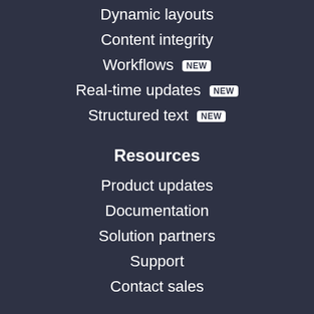Dynamic layouts
Content integrity
Workflows NEW
Real-time updates NEW
Structured text NEW
Resources
Product updates
Documentation
Solution partners
Support
Contact sales
Social
Blog
Community forum
Slack channel